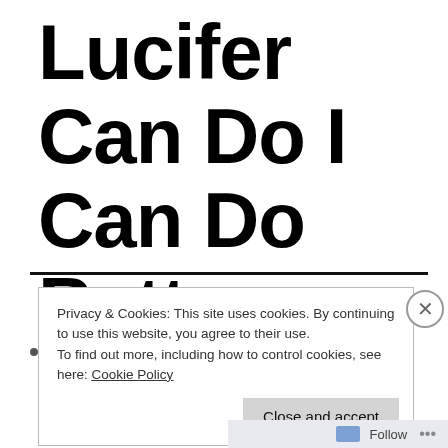Lucifer Can Do I Can Do Better
Privacy & Cookies: This site uses cookies. By continuing to use this website, you agree to their use.
To find out more, including how to control cookies, see here: Cookie Policy
Close and accept
Follow